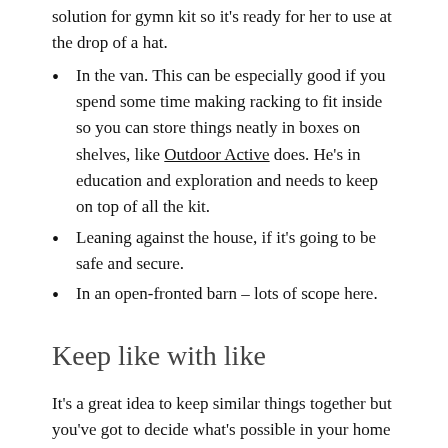solution for gymn kit so it's ready for her to use at the drop of a hat.
In the van. This can be especially good if you spend some time making racking to fit inside so you can store things neatly in boxes on shelves, like Outdoor Active does. He's in education and exploration and needs to keep on top of all the kit.
Leaning against the house, if it's going to be safe and secure.
In an open-fronted barn – lots of scope here.
Keep like with like
It's a great idea to keep similar things together but you've got to decide what's possible in your home and what makes sense for you. However good an idea it might be, you might not be able to keep everything to do